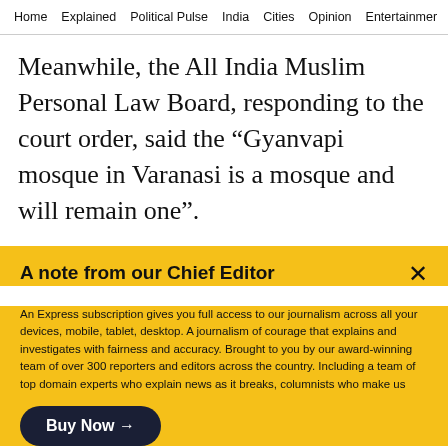Home  Explained  Political Pulse  India  Cities  Opinion  Entertainment
Meanwhile, the All India Muslim Personal Law Board, responding to the court order, said the “Gyanvapi mosque in Varanasi is a mosque and will remain one”.
“To convert the mosque into a temple, then it is
A note from our Chief Editor
An Express subscription gives you full access to our journalism across all your devices, mobile, tablet, desktop. A journalism of courage that explains and investigates with fairness and accuracy. Brought to you by our award-winning team of over 300 reporters and editors across the country. Including a team of top domain experts who explain news as it breaks, columnists who make us think and rethink, and a crack investigative team, the only partner in India of the International Consortium of Investigative Journalists. Journalism
Buy Now →